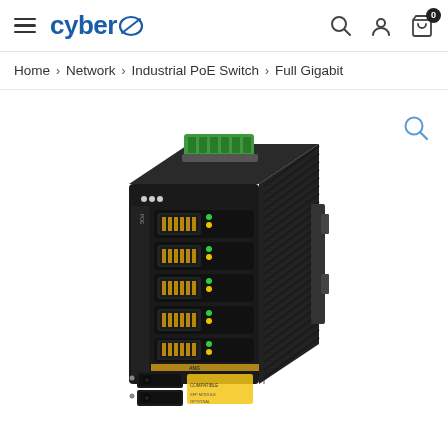cyber (logo with oval emblem) | search icon | account icon | cart icon (0)
Home > Network > Industrial PoE Switch > Full Gigabit
[Figure (photo): Industrial PoE network switch with black metal housing, 5 RJ45 ports with yellow/green LED indicators, 2 SFP fiber ports at bottom, green terminal block connector on top, and DIN-rail mounting bracket on the right side.]